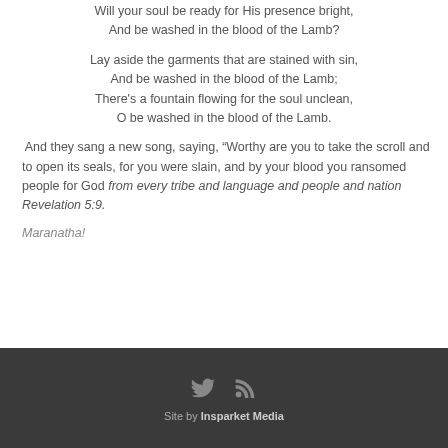Will your soul be ready for His presence bright,
And be washed in the blood of the Lamb?
Lay aside the garments that are stained with sin,
And be washed in the blood of the Lamb;
There’s a fountain flowing for the soul unclean,
O be washed in the blood of the Lamb.
And they sang a new song, saying, “Worthy are you to take the scroll and to open its seals, for you were slain, and by your blood you ransomed people for God from every tribe and language and people and nation Revelation 5:9.
Maranatha!
Site by Insparket Media